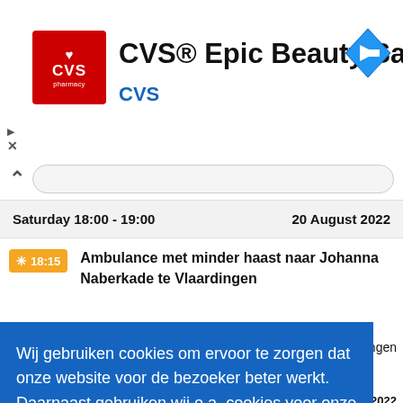[Figure (screenshot): CVS pharmacy logo — red square with white heart and CVS pharmacy text]
CVS® Epic Beauty Sale
CVS
[Figure (illustration): Blue diamond-shaped navigation/direction arrow icon pointing right]
Saturday 18:00 - 19:00
20 August 2022
18:15  Ambulance met minder haast naar Johanna Naberkade te Vlaardingen
Wij gebruiken cookies om ervoor te zorgen dat onze website voor de bezoeker beter werkt. Daarnaast gebruiken wij o.a. cookies voor onze webstatistieken.  Lees meer
Oké!